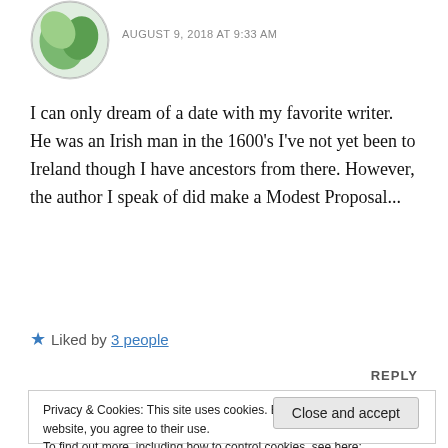[Figure (illustration): Circular avatar image with green leaf design on white background]
AUGUST 9, 2018 AT 9:33 AM
I can only dream of a date with my favorite writer. He was an Irish man in the 1600's I've not yet been to Ireland though I have ancestors from there. However, the author I speak of did make a Modest Proposal...
★ Liked by 3 people
REPLY
Privacy & Cookies: This site uses cookies. By continuing to use this website, you agree to their use.
To find out more, including how to control cookies, see here:
Cookie Policy
Close and accept